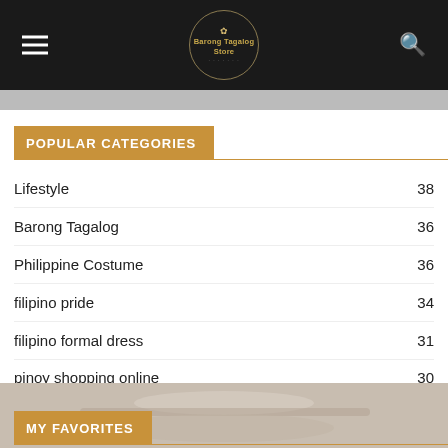Barong Tagalog Store
POPULAR CATEGORIES
Lifestyle 38
Barong Tagalog 36
Philippine Costume 36
filipino pride 34
filipino formal dress 31
pinoy shopping online 30
MY FAVORITES
[Figure (photo): Partial photo of a decorative item, bottom of page]